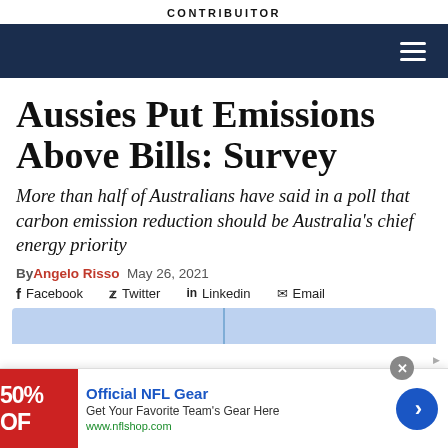CONTRIBUITOR
[Figure (other): Dark navy navigation bar with hamburger menu icon (three white horizontal lines) on the right side]
Aussies Put Emissions Above Bills: Survey
More than half of Australians have said in a poll that carbon emission reduction should be Australia's chief energy priority
By Angelo Risso  May 26, 2021
Facebook  Twitter  Linkedin  Email
[Figure (other): Light blue content preview area with vertical divider line in center]
[Figure (other): Advertisement banner: Official NFL Gear - Get Your Favorite Team's Gear Here - www.nflshop.com, with red 50% OFF image on left and blue arrow button on right]